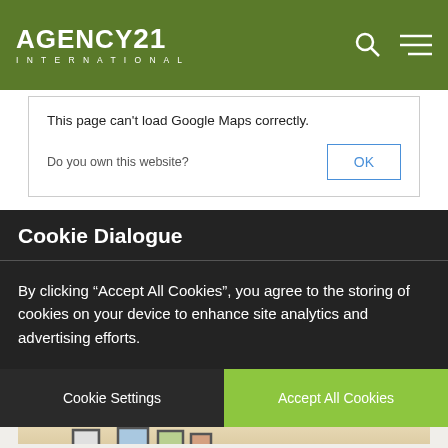AGENCY21 INTERNATIONAL
[Figure (screenshot): Google Maps error dialog: 'This page can't load Google Maps correctly. Do you own this website? OK']
Cookie Dialogue
By clicking “Accept All Cookies”, you agree to the storing of cookies on your device to enhance site analytics and advertising efforts.
Cookie Settings | Accept All Cookies
Property Images
[Figure (photo): Interior room photo showing framed pictures on a wall]